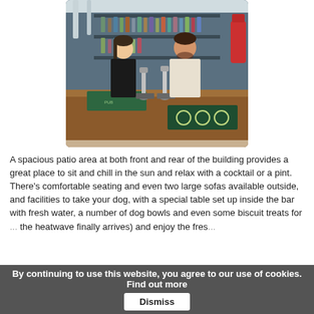[Figure (photo): Two bar staff standing behind a pub bar counter with beer taps and bottles of spirits on shelves behind them. The bar counter has green promotional mats on it.]
A spacious patio area at both front and rear of the building provides a great place to sit and chill in the sun and relax with a cocktail or a pint. There's comfortable seating and even two large sofas available outside, and facilities to take your dog, with a special table set up inside the bar with fresh water, a number of dog bowls and even some biscuit treats for... the heatwave finally arrives) and enjoy the fres...
By continuing to use this website, you agree to our use of cookies. Find out more   Dismiss